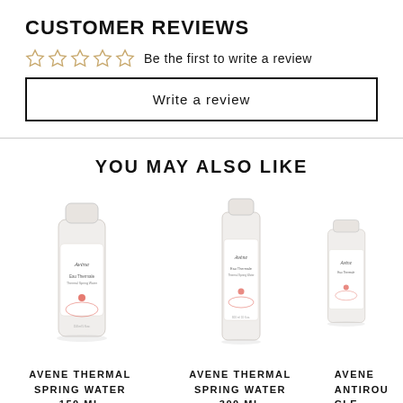CUSTOMER REVIEWS
☆☆☆☆☆  Be the first to write a review
Write a review
YOU MAY ALSO LIKE
[Figure (photo): Avene Thermal Spring Water 150 ml spray bottle]
AVENE THERMAL SPRING WATER 150 ML
[Figure (photo): Avene Thermal Spring Water 300 ml spray bottle]
AVENE THERMAL SPRING WATER 300 ML
AVENE ANTIROU- GEURS CLEAR...